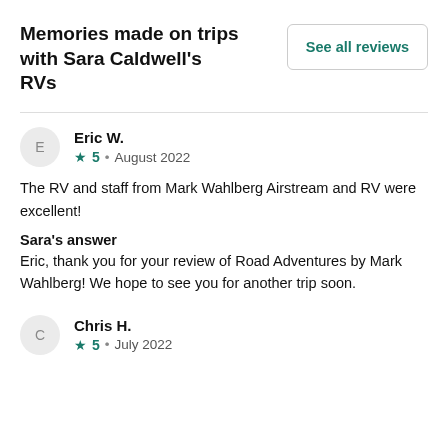Memories made on trips with Sara Caldwell's RVs
See all reviews
Eric W.
★5 • August 2022
The RV and staff from Mark Wahlberg Airstream and RV were excellent!
Sara's answer
Eric, thank you for your review of Road Adventures by Mark Wahlberg! We hope to see you for another trip soon.
Chris H.
★5 • July 2022